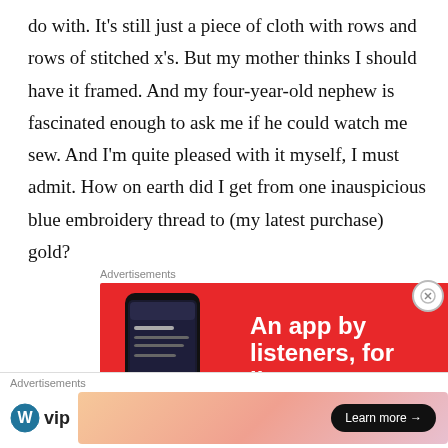do with. It's still just a piece of cloth with rows and rows of stitched x's. But my mother thinks I should have it framed. And my four-year-old nephew is fascinated enough to ask me if he could watch me sew. And I'm quite pleased with it myself, I must admit. How on earth did I get from one inauspicious blue embroidery thread to (my latest purchase) gold?
Advertisements
[Figure (other): Red advertisement banner for a podcast/audio app with text 'An app by listeners, for listeners' and a phone graphic on the left showing the app interface.]
Advertisements
[Figure (other): WordPress VIP advertisement banner with logo on left and a gradient peach/pink box with a 'Learn more →' button.]